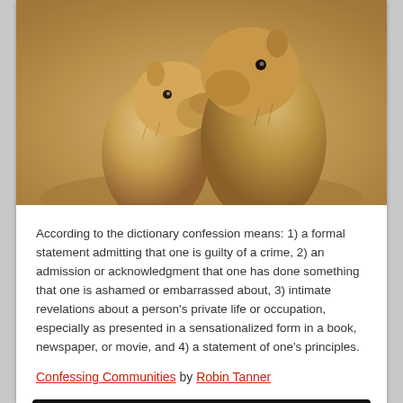[Figure (photo): Two prairie dogs (ground squirrels) appearing to embrace or kiss, photographed close-up against a sandy/dirt background]
According to the dictionary confession means: 1) a formal statement admitting that one is guilty of a crime, 2) an admission or acknowledgment that one has done something that one is ashamed or embarrassed about, 3) intimate revelations about a person’s private life or occupation, especially as presented in a sensationalized form in a book, newspaper, or movie, and 4) a statement of one’s principles.
Confessing Communities by Robin Tanner
[Figure (screenshot): YouTube video thumbnail showing 'Words Fail — Dear Evan Han...' with a circular group photo icon and three-dot menu icon on dark background with blue progress bar]